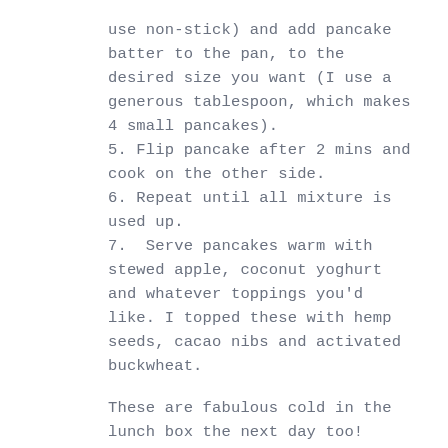use non-stick) and add pancake batter to the pan, to the desired size you want (I use a generous tablespoon, which makes 4 small pancakes).
5. Flip pancake after 2 mins and cook on the other side.
6. Repeat until all mixture is used up.
7.  Serve pancakes warm with stewed apple, coconut yoghurt and whatever toppings you'd like. I topped these with hemp seeds, cacao nibs and activated buckwheat.
These are fabulous cold in the lunch box the next day too!